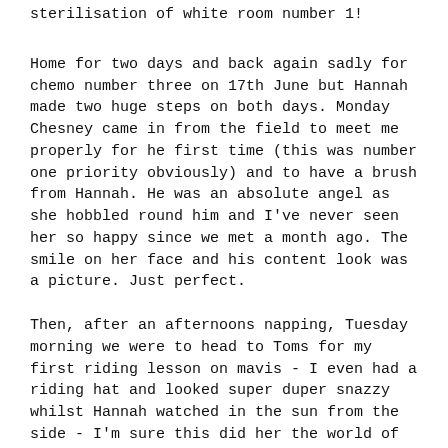sterilisation of white room number 1!
Home for two days and back again sadly for chemo number three on 17th June but Hannah made two huge steps on both days. Monday Chesney came in from the field to meet me properly for he first time (this was number one priority obviously) and to have a brush from Hannah. He was an absolute angel as she hobbled round him and I've never seen her so happy since we met a month ago. The smile on her face and his content look was a picture. Just perfect.
Then, after an afternoons napping, Tuesday morning we were to head to Toms for my first riding lesson on mavis - I even had a riding hat and looked super duper snazzy whilst Hannah watched in the sun from the side - I'm sure this did her the world of good. I overheard Hannah telling her mum how well she thought Mave looked, sleek, strong and smart so I think that's good praise, I've heard it about me before so she can't be going far wrong!
All the same, seeing someone else riding her pride and